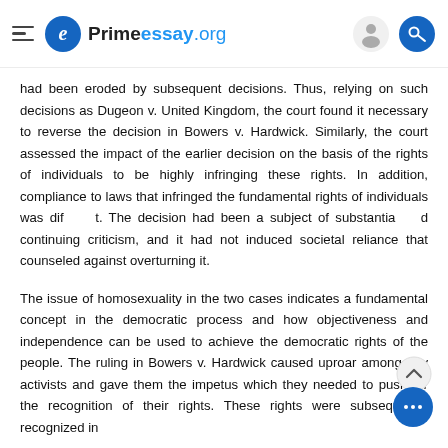Primeessay.org
had been eroded by subsequent decisions. Thus, relying on such decisions as Dugeon v. United Kingdom, the court found it necessary to reverse the decision in Bowers v. Hardwick. Similarly, the court assessed the impact of the earlier decision on the basis of the rights of individuals to be highly infringing these rights. In addition, compliance to laws that infringed the fundamental rights of individuals was difficult. The decision had been a subject of substantial and continuing criticism, and it had not induced societal reliance that counseled against overturning it.
The issue of homosexuality in the two cases indicates a fundamental concept in the democratic process and how objectiveness and independence can be used to achieve the democratic rights of the people. The ruling in Bowers v. Hardwick caused uproar among gay activists and gave them the impetus which they needed to push for the recognition of their rights. These rights were subsequently recognized in